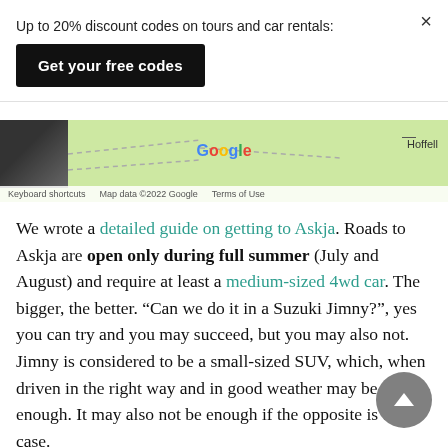Up to 20% discount codes on tours and car rentals:
Get your free codes
[Figure (screenshot): Google Maps screenshot showing a partial map with a photo thumbnail on the left, Google logo in the center, Hoffell label on the right, keyboard shortcuts and map data attribution at the bottom, and a minus button in the top right.]
We wrote a detailed guide on getting to Askja. Roads to Askja are open only during full summer (July and August) and require at least a medium-sized 4wd car. The bigger, the better. “Can we do it in a Suzuki Jimny?”, yes you can try and you may succeed, but you may also not. Jimny is considered to be a small-sized SUV, which, when driven in the right way and in good weather may be enough. It may also not be enough if the opposite is the case.